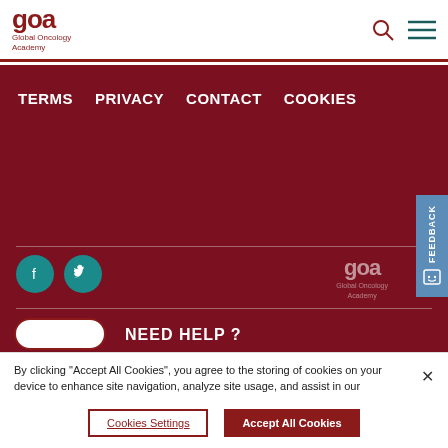[Figure (logo): GOA Global Oncology Academy logo in dark red]
[Figure (illustration): Search icon (magnifying glass) and hamburger menu icon in dark red]
TERMS   PRIVACY   CONTACT   COOKIES
[Figure (illustration): Facebook and Twitter social media icons in teal circles]
[Figure (logo): GOA Global Oncology Academy logo in white/transparent on dark red background]
[Figure (illustration): Feedback tab on right side, blue with smiley icon]
NEED HELP ?
By clicking "Accept All Cookies", you agree to the storing of cookies on your device to enhance site navigation, analyze site usage, and assist in our marketing efforts.
Cookies Settings
Accept All Cookies